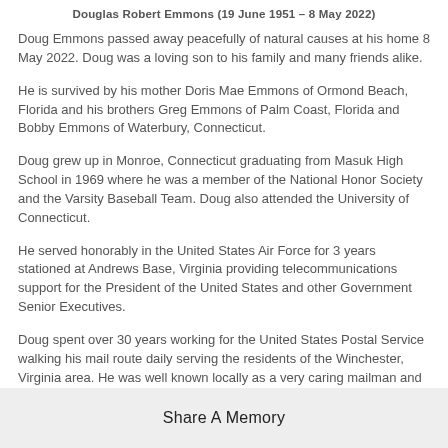Douglas Robert Emmons (19 June 1951 – 8 May 2022)
Doug Emmons passed away peacefully of natural causes at his home 8 May 2022. Doug was a loving son to his family and many friends alike.
He is survived by his mother Doris Mae Emmons of Ormond Beach, Florida and his brothers Greg Emmons of Palm Coast, Florida and Bobby Emmons of Waterbury, Connecticut.
Doug grew up in Monroe, Connecticut graduating from Masuk High School in 1969 where he was a member of the National Honor Society and the Varsity Baseball Team. Doug also attended the University of Connecticut.
He served honorably in the United States Air Force for 3 years stationed at Andrews Base, Virginia providing telecommunications support for the President of the United States and other Government Senior Executives.
Doug spent over 30 years working for the United States Postal Service walking his mail route daily serving the residents of the Winchester, Virginia area. He was well known locally as a very caring mailman and a good friend to all the customers on his route.
Share A Memory